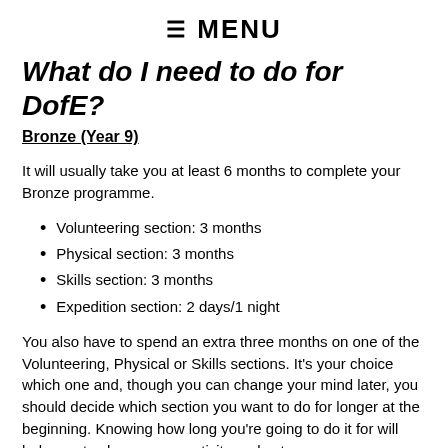≡ MENU
What do I need to do for DofE?
Bronze (Year 9)
It will usually take you at least 6 months to complete your Bronze programme.
Volunteering section: 3 months
Physical section: 3 months
Skills section: 3 months
Expedition section: 2 days/1 night
You also have to spend an extra three months on one of the Volunteering, Physical or Skills sections. It's your choice which one and, though you can change your mind later, you should decide which section you want to do for longer at the beginning. Knowing how long you're going to do it for will help you to choose your activity and set your